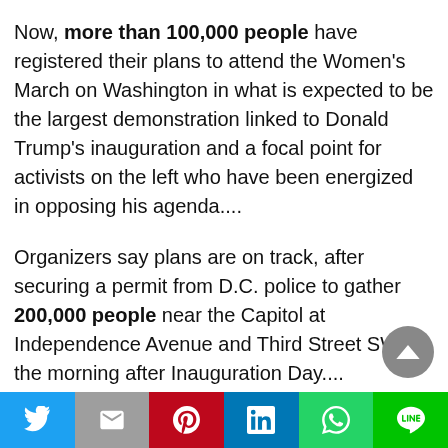Now, more than 100,000 people have registered their plans to attend the Women's March on Washington in what is expected to be the largest demonstration linked to Donald Trump's inauguration and a focal point for activists on the left who have been energized in opposing his agenda....
Organizers say plans are on track, after securing a permit from D.C. police to gather 200,000 people near the Capitol at Independence Avenue and Third Street SW on the morning after Inauguration Day....